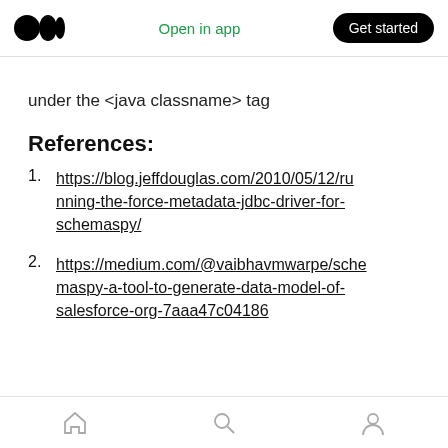Open in app  Get started
under the <java classname> tag
References:
1. https://blog.jeffdouglas.com/2010/05/12/running-the-force-metadata-jdbc-driver-for-schemaspy/
2. https://medium.com/@vaibhavmwarpe/schemaspy-a-tool-to-generate-data-model-of-salesforce-org-7aaa47c04186
Home  Search  Profile